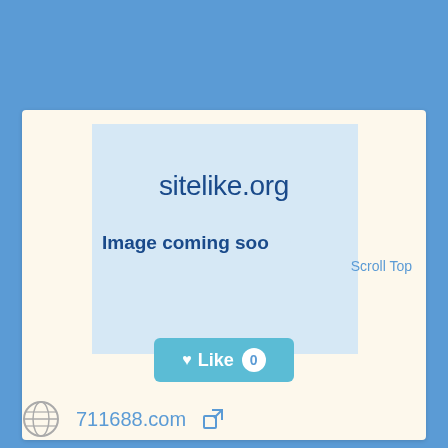[Figure (screenshot): Website preview card for sitelike.org showing 'Image coming soon' placeholder with a Like button and 711688.com link at the bottom]
sitelike.org
Image coming soon
Scroll Top
Like 0
711688.com